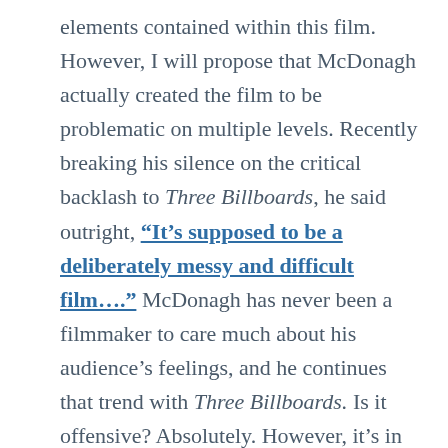elements contained within this film. However, I will propose that McDonagh actually created the film to be problematic on multiple levels. Recently breaking his silence on the critical backlash to Three Billboards, he said outright, “It’s supposed to be a deliberately messy and difficult film….” McDonagh has never been a filmmaker to care much about his audience’s feelings, and he continues that trend with Three Billboards. Is it offensive? Absolutely. However, it’s in this offensive, messy tale of an enraged mother and a racist police officer that we see bridges built and old wounds being healed. Forgiveness is possible